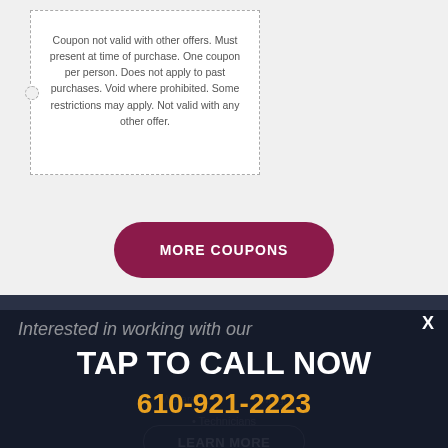Coupon not valid with other offers. Must present at time of purchase. One coupon per person. Does not apply to past purchases. Void where prohibited. Some restrictions may apply. Not valid with any other offer.
MORE COUPONS
Interested in working with our
TAP TO CALL NOW
610-921-2223
We are owing:
Technicians
LEARN MORE